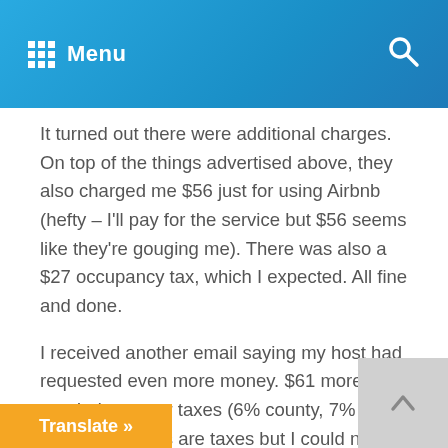Menu
It turned out there were additional charges. On top of the things advertised above, they also charged me $56 just for using Airbnb (hefty – I'll pay for the service but $56 seems like they're gouging me). There was also a $27 occupancy tax, which I expected. All fine and done.
I received another email saying my host had requested even more money. $61 more was needed to cover taxes (6% county, 7% state of Texas). Taxes are taxes but I could not figure out how they arrived at $61. I calculated $50 and some change. I didn't find the $11 worth asking or arguing over, so I sent the additional money while wondering how Airbnb could possibly be cheaper or better than a hotel. ly sitting on $856 of my money (if you